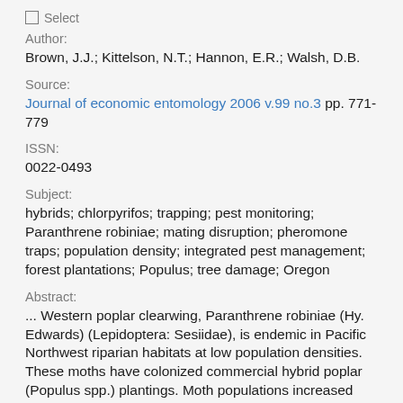Select
Author:
Brown, J.J.; Kittelson, N.T.; Hannon, E.R.; Walsh, D.B.
Source:
Journal of economic entomology 2006 v.99 no.3 pp. 771-779
ISSN:
0022-0493
Subject:
hybrids; chlorpyrifos; trapping; pest monitoring; Paranthrene robiniae; mating disruption; pheromone traps; population density; integrated pest management; forest plantations; Populus; tree damage; Oregon
Abstract:
... Western poplar clearwing, Paranthrene robiniae (Hy. Edwards) (Lepidoptera: Sesiidae), is endemic in Pacific Northwest riparian habitats at low population densities. These moths have colonized commercial hybrid poplar (Populus spp.) plantings. Moth populations increased rapidly and became a major pest. Trap catches of male